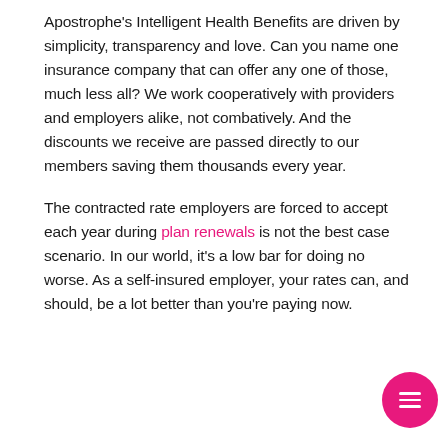Apostrophe's Intelligent Health Benefits are driven by simplicity, transparency and love. Can you name one insurance company that can offer any one of those, much less all? We work cooperatively with providers and employers alike, not combatively. And the discounts we receive are passed directly to our members saving them thousands every year.
The contracted rate employers are forced to accept each year during plan renewals is not the best case scenario. In our world, it's a low bar for doing no worse. As a self-insured employer, your rates can, and should, be a lot better than you're paying now.